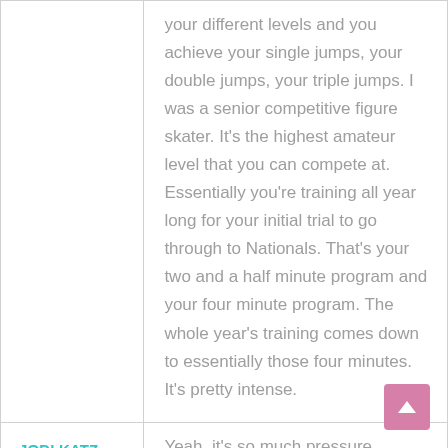your different levels and you achieve your single jumps, your double jumps, your triple jumps. I was a senior competitive figure skater. It's the highest amateur level that you can compete at. Essentially you're training all year long for your initial trial to go through to Nationals. That's your two and a half minute program and your four minute program. The whole year's training comes down to essentially those four minutes. It's pretty intense.
JODI KATZ
Yeah, it's so much pressure.
DANIELLE VINCENT
It is a lot of pressure. You know, I think you have to enjoy that part of it. I t